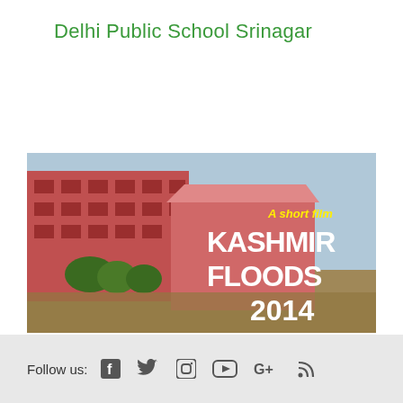Delhi Public School Srinagar
[Figure (photo): A short film poster titled 'KASHMIR FLOODS 2014' showing a flooded school building with brown floodwater. The text 'A short film' appears in yellow italic, and 'KASHMIR FLOODS 2014' appears in large bold white text on the right side of the image.]
Follow us: [Facebook] [Twitter] [Instagram] [YouTube] [Google+] [RSS]